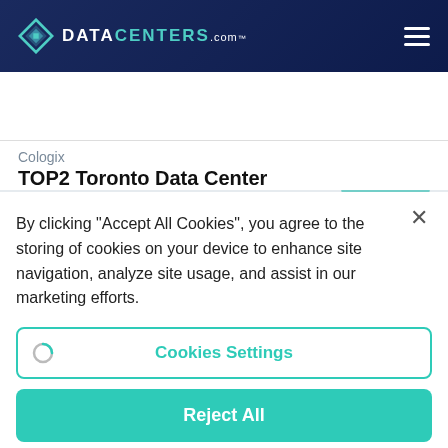DATACENTERS.com
Locations
Cologix
TOP2 Toronto Data Center
By clicking “Accept All Cookies”, you agree to the storing of cookies on your device to enhance site navigation, analyze site usage, and assist in our marketing efforts.
Cookies Settings
Reject All
Accept All Cookies